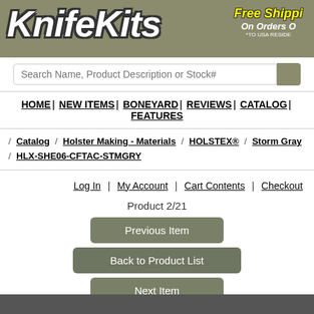[Figure (logo): KnifeKits logo with 'Free Shipping On Orders O...' banner on olive/tan background]
Search Name, Product Description or Stock#
HOME | NEW ITEMS | BONEYARD | REVIEWS | CATALOG | FEATURES
/ Catalog / Holster Making - Materials / HOLSTEX® / Storm Gray / HLX-SHE06-CFTAC-STMGRY
Log In | My Account | Cart Contents | Checkout
Product 2/21
Previous Item
Back to Product List
Next Item